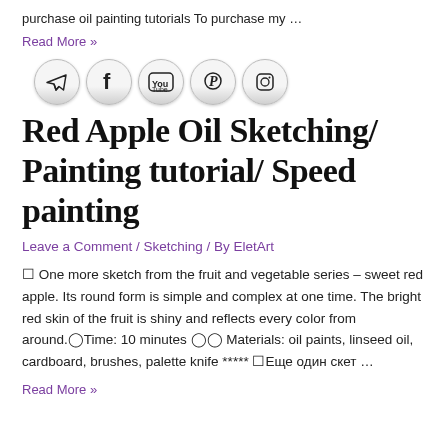purchase oil painting tutorials To purchase my …
Read More »
[Figure (illustration): Five circular social media icons in a row: Telegram, Facebook, YouTube, Pinterest, Instagram]
Red Apple Oil Sketching/ Painting tutorial/ Speed painting
Leave a Comment / Sketching / By EletArt
🎨 One more sketch from the fruit and vegetable series – sweet red apple. Its round form is simple and complex at one time. The bright red skin of the fruit is shiny and reflects every color from around.🕐Time: 10 minutes 🎨🖌 Materials: oil paints, linseed oil, cardboard, brushes, palette knife ***** 🎨Еще один скет …
Read More »